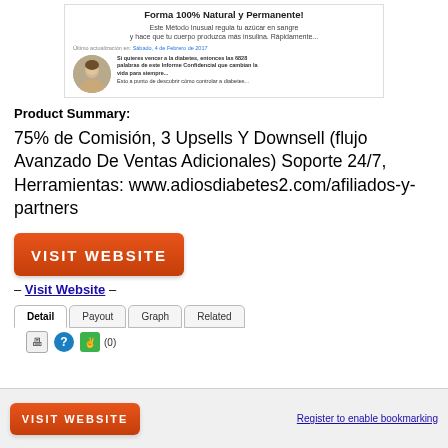[Figure (screenshot): Screenshot of a Spanish-language diabetes product webpage with title 'Forma 100% Natural y Permanente!', subtitle text about regulating blood sugar, a date stamp 'Sábado, 4 de Febrero de 2017', a circular avatar photo of a man, and Spanish promotional text.]
Product Summary:
75% de Comisión, 3 Upsells Y Downsell (flujo Avanzado De Ventas Adicionales) Soporte 24/7, Herramientas: www.adiosdiabetes2.com/afiliados-y-partners
[Figure (screenshot): Orange 'VISIT WEBSITE' button]
– Visit Website –
Detail | Payout | Graph | Related tabs
[Figure (screenshot): Bottom section with smaller orange VISIT WEBSITE button and 'Register to enable bookmarking' link]